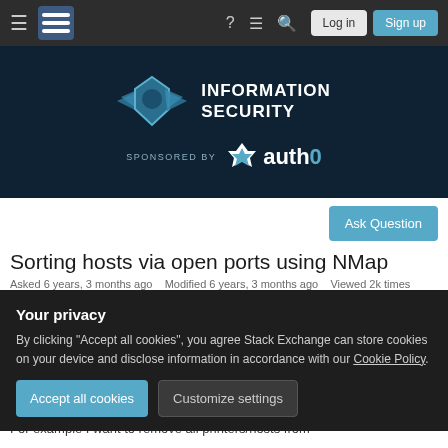[Figure (screenshot): Stack Exchange Information Security site navigation bar with hamburger menu, logo, help, chat, search icons, and Log in / Sign up buttons]
[Figure (logo): Information Security Stack Exchange banner with lion shield logo and auth0 sponsorship logo]
Ask Question
Sorting hosts via open ports using NMap
Asked 6 years, 3 months ago   Modified 6 years, 3 months ago   Viewed 2k times
Your privacy
By clicking "Accept all cookies", you agree Stack Exchange can store cookies on your device and disclose information in accordance with our Cookie Policy.
Accept all cookies
Customize settings
For example I want to remove all printers/hosts from